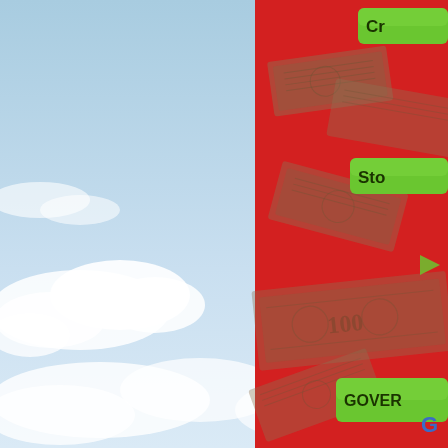[Figure (screenshot): Partial screenshot of a webpage showing a red background with scattered US dollar bills and green navigation/category buttons partially visible: 'Cr...' (top right), 'Sto...' (middle right), 'GOVER...' (lower right). The URL 'blog.mint.com' is shown in white/bold at the lower left of the red panel. The left portion of the image shows a blue sky with white clouds background.]
picture courtesy of Barry Ritholz
G